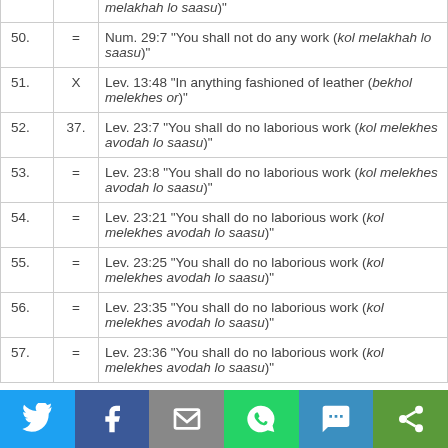| # | Ref | Text |
| --- | --- | --- |
|  | = | melakhah lo saasu)" |
| 50. | = | Num. 29:7 “You shall not do any work (kol melakhah lo saasu)" |
| 51. | X | Lev. 13:48 “In anything fashioned of leather (bekhol melekhes or)" |
| 52. | 37. | Lev. 23:7 “You shall do no laborious work (kol melekhes avodah lo saasu)" |
| 53. | = | Lev. 23:8 “You shall do no laborious work (kol melekhes avodah lo saasu)" |
| 54. | = | Lev. 23:21 “You shall do no laborious work (kol melekhes avodah lo saasu)" |
| 55. | = | Lev. 23:25 “You shall do no laborious work (kol melekhes avodah lo saasu)" |
| 56. | = | Lev. 23:35 “You shall do no laborious work (kol melekhes avodah lo saasu)" |
| 57. | = | Lev. 23:36 “You shall do no laborious work (kol melekhes avodah lo saasu)" |